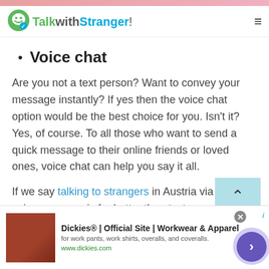[Figure (screenshot): Pink decorative banner at the very top of the page]
TalkwithStranger!
Voice chat
Are you not a text person? Want to convey your message instantly? If yes then the voice chat option would be the best choice for you. Isn't it? Yes, of course. To all those who want to send a quick message to their online friends or loved ones, voice chat can help you say it all.
If we say talking to strangers in Austria via TWS voice message is far better than text message then
[Figure (screenshot): Advertisement banner for Dickies Official Site - Workwear & Apparel]